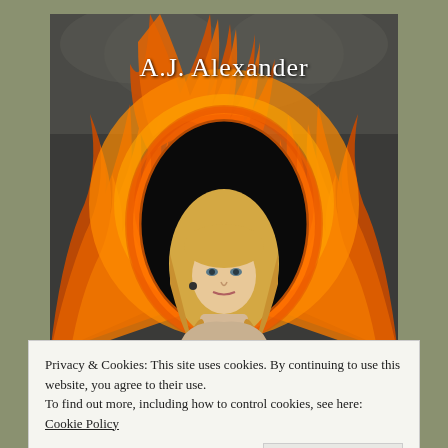[Figure (photo): Book cover or author banner for A.J. Alexander showing a blonde woman surrounded by a ring of fire/flames on a dark background, with the author name 'A.J. Alexander' displayed at the top in white serif text.]
Privacy & Cookies: This site uses cookies. By continuing to use this website, you agree to their use.
To find out more, including how to control cookies, see here: Cookie Policy
Close and accept
[Figure (photo): Bottom portion of another image, partially visible at the bottom of the page.]